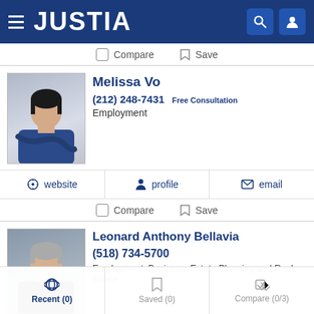JUSTIA
Compare  Save
[Figure (photo): Headshot of attorney Melissa Vo, Asian woman in dark blazer with arms crossed]
Melissa Vo
(212) 248-7431  Free Consultation
Employment
website  profile  email
Compare  Save
[Figure (photo): Headshot of attorney Leonard Anthony Bellavia, older man in suit with grey hair]
Leonard Anthony Bellavia
(518) 734-5700
Employment, Business, Estate Planning and Real Estate
website  profile  email
Recent (0)  Saved (0)  Compare (0/3)